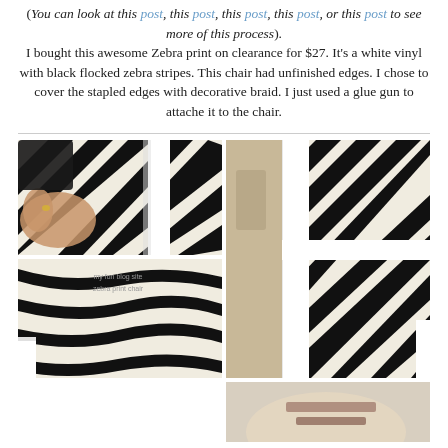(You can look at this post, this post, this post, this post, or this post to see more of this process). I bought this awesome Zebra print on clearance for $27. It's a white vinyl with black flocked zebra stripes. This chair had unfinished edges. I chose to cover the stapled edges with decorative braid. I just used a glue gun to attache it to the chair.
[Figure (photo): Four photos of a chair being reupholstered with black and white zebra print vinyl fabric, showing the process of attaching the fabric and the finished result with decorative braid trim.]